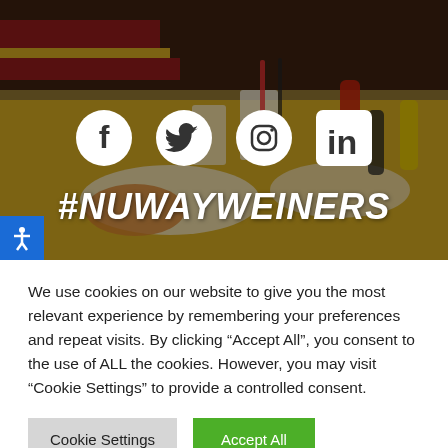[Figure (photo): Restaurant booth with diner food — burgers, hot dogs, fries, onion rings, condiment bottles on yellow table with red/yellow striped booth seating. Social media icons (Facebook, Twitter, Instagram, LinkedIn) overlaid in white. Hashtag #NUWAYWEINERS displayed in white italic bold text.]
We use cookies on our website to give you the most relevant experience by remembering your preferences and repeat visits. By clicking “Accept All”, you consent to the use of ALL the cookies. However, you may visit "Cookie Settings" to provide a controlled consent.
Cookie Settings
Accept All